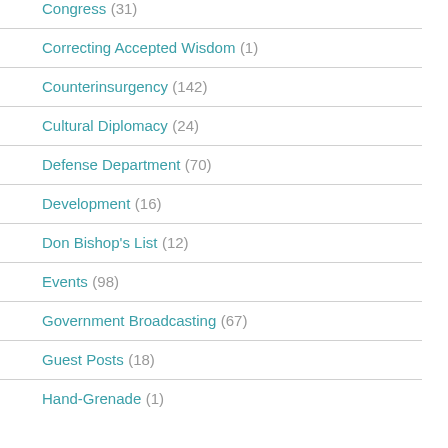Congress (31)
Correcting Accepted Wisdom (1)
Counterinsurgency (142)
Cultural Diplomacy (24)
Defense Department (70)
Development (16)
Don Bishop's List (12)
Events (98)
Government Broadcasting (67)
Guest Posts (18)
Hand-Grenade (1)